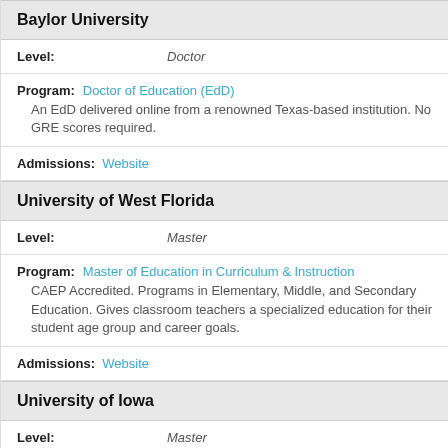Baylor University
Level: Doctor
Program: Doctor of Education (EdD)
An EdD delivered online from a renowned Texas-based institution. No GRE scores required.
Admissions: Website
University of West Florida
Level: Master
Program: Master of Education in Curriculum & Instruction
CAEP Accredited. Programs in Elementary, Middle, and Secondary Education. Gives classroom teachers a specialized education for their student age group and career goals.
Admissions: Website
University of Iowa
Level: Master
Program: Master of Arts in Teaching, Leadership, and Cultural Competency
Earn graduate degree in as few as 20 months.
Admissions: Website